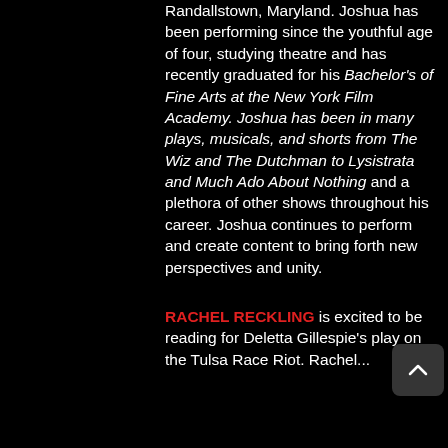Randallstown, Maryland. Joshua has been performing since the youthful age of four, studying theatre and has recently graduated for his Bachelor's of Fine Arts at the New York Film Academy. Joshua has been in many plays, musicals, and shorts from The Wiz and The Dutchman to Lysistrata and Much Ado About Nothing and a plethora of other shows throughout his career. Joshua continues to perform and create content to bring forth new perspectives and unity.
RACHEL RECKLING is excited to be reading for Deletta Gillespie's play on the Tulsa Race Riot. Rachel...